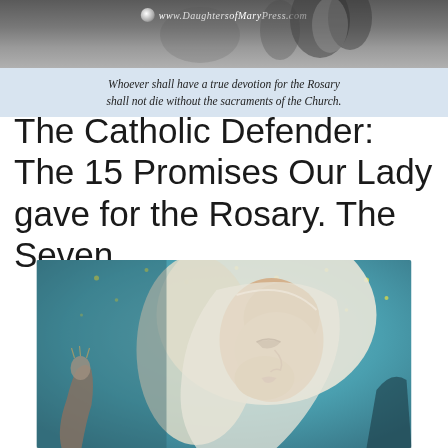[Figure (photo): Banner image from www.DaughtersofMaryPress.com showing religious figures in dark/silver tones with a globe/world icon watermark]
Whoever shall have a true devotion for the Rosary shall not die without the sacraments of the Church.
The Catholic Defender: The 15 Promises Our Lady gave for the Rosary. The Seven...
[Figure (illustration): Painting of the Virgin Mary in profile view, wearing a white veil, with a blue star-studded background, holding something in her hand, with a serene expression and eyes downcast]